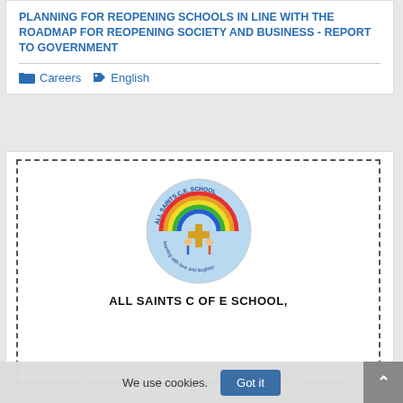PLANNING FOR REOPENING SCHOOLS IN LINE WITH THE ROADMAP FOR REOPENING SOCIETY AND BUSINESS - REPORT TO GOVERNMENT
Careers  English
[Figure (logo): All Saints C.E. School logo — circular badge with rainbow arc, cross and children figures, text 'learning with love and laughter' around the edge]
ALL SAINTS C OF E SCHOOL,
We use cookies.